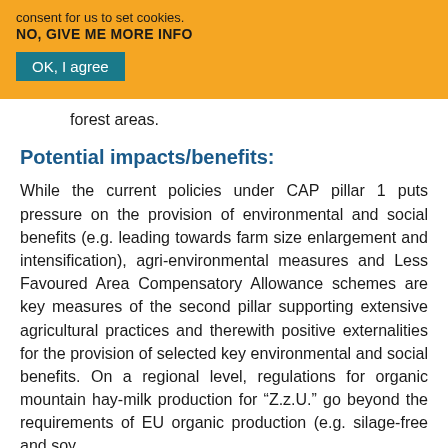consent for us to set cookies.
NO, GIVE ME MORE INFO
OK, I agree
forest areas.
Potential impacts/benefits:
While the current policies under CAP pillar 1 puts pressure on the provision of environmental and social benefits (e.g. leading towards farm size enlargement and intensification), agri-environmental measures and Less Favoured Area Compensatory Allowance schemes are key measures of the second pillar supporting extensive agricultural practices and therewith positive externalities for the provision of selected key environmental and social benefits. On a regional level, regulations for organic mountain hay-milk production for “Z.z.U.” go beyond the requirements of EU organic production (e.g. silage-free and soy